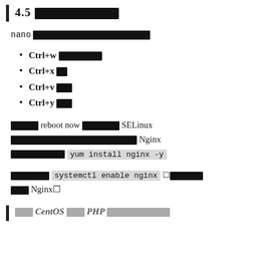4.5 [redacted]
nano [redacted]
Ctrl+w [redacted]
Ctrl+x [redacted]
Ctrl+v [redacted]
Ctrl+y [redacted]
[redacted] reboot now [redacted] SELinux [redacted] Nginx [redacted] yum install nginx -y
[redacted] systemctl enable nginx [redacted] Nginx
[redacted] CentOS [redacted] PHP [redacted]